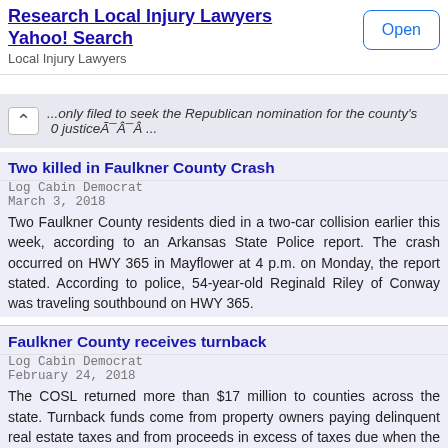[Figure (screenshot): Advertisement banner: 'Research Local Injury Lawyers Yahoo! Search' with an Open button]
...only filed to seek the Republican nomination for the county's 0 justiceÃ¯Â ...
Two killed in Faulkner County Crash
Log Cabin Democrat
March 3, 2018
Two Faulkner County residents died in a two-car collision earlier this week, according to an Arkansas State Police report. The crash occurred on HWY 365 in Mayflower at 4 p.m. on Monday, the report stated. According to police, 54-year-old Reginald Riley of Conway was traveling southbound on HWY 365.
Faulkner County receives turnback
Log Cabin Democrat
February 24, 2018
The COSL returned more than $17 million to counties across the state. Turnback funds come from property owners paying delinquent real estate taxes and from proceeds in excess of taxes due when the COSL office sells property. “The sole purpose of collecting delinquent real estate taxes, and selling long-delinquentÃ¯Â ...
Faulkner County agency 3 short